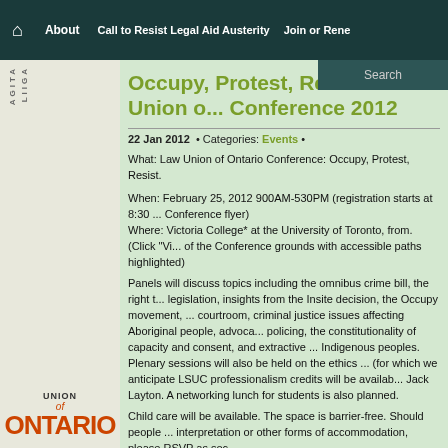About | Call to Resist Legal Aid Austerity | Join or Rene... | Search
Occupy, Protest, Resist: Law Union of Ontario Conference 2012
22 Jan 2012  • Categories: Events •
What: Law Union of Ontario Conference: Occupy, Protest, Resist.
When: February 25, 2012 900AM-530PM (registration starts at 8:30 ... Conference flyer)
Where: Victoria College* at the University of Toronto, from. (Click "Vi... of the Conference grounds with accessible paths highlighted)
Panels will discuss topics including the omnibus crime bill, the right t... legislation, insights from the Insite decision, the Occupy movement, ... courtroom, criminal justice issues affecting Aboriginal people, advoca... policing, the constitutionality of capacity and consent, and extractive ... Indigenous peoples. Plenary sessions will also be held on the ethics ... (for which we anticipate LSUC professionalism credits will be availab... Jack Layton. A networking lunch for students is also planned.
Child care will be available. The space is barrier-free. Should people ... interpretation or other forms of accommodation, please RSVP as soc...